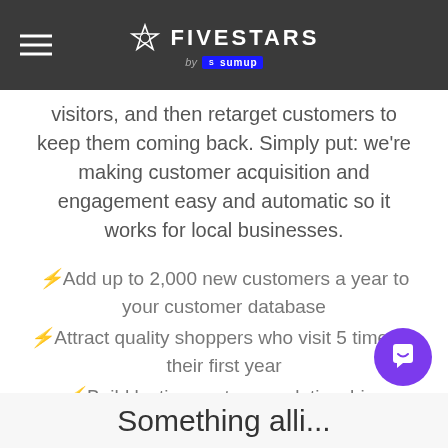FIVESTARS by SumUp
visitors, and then retarget customers to keep them coming back. Simply put: we're making customer acquisition and engagement easy and automatic so it works for local businesses.
Add up to 2,000 new customers a year to your customer database
Attract quality shoppers who visit 5 times in their first year
Build lasting customer relationships
Something alli...